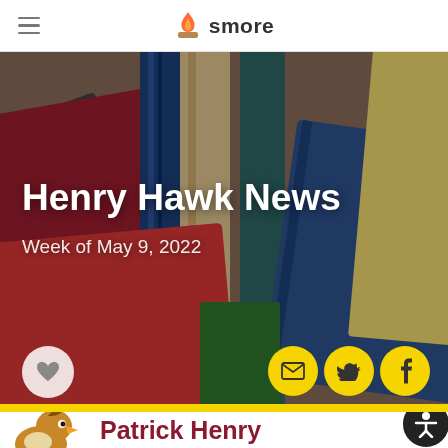smore
[Figure (photo): Stack of colorful books photographed from above, used as hero banner background for Henry Hawk News newsletter]
Henry Hawk News
Week of May 9, 2022
[Figure (logo): Heart/like button (white circle), email icon (yellow circle), Twitter bird icon (yellow circle), Facebook f icon (yellow circle) — social sharing buttons]
Patrick Henry
[Figure (logo): Patrick Henry school hawk mascot logo — brown and gold hawk/eagle illustration, partially visible at bottom left]
[Figure (logo): Accessibility icon button — black circle with white person/wheelchair symbol, bottom right corner]